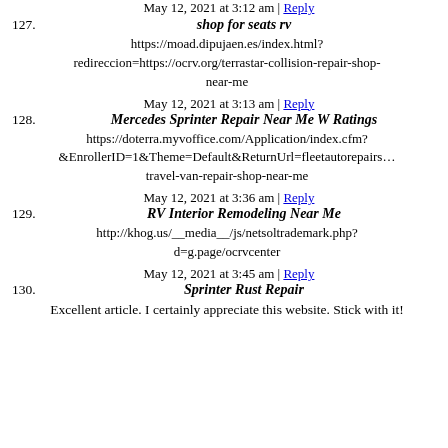May 12, 2021 at 3:12 am | Reply
127. shop for seats rv
https://moad.dipujaen.es/index.html?redireccion=https://ocrv.org/terrastar-collision-repair-shop-near-me
May 12, 2021 at 3:13 am | Reply
128. Mercedes Sprinter Repair Near Me W Ratings
https://doterra.myvoffice.com/Application/index.cfm?&EnrollerID=1&Theme=Default&ReturnUrl=fleetautorepairs… travel-van-repair-shop-near-me
May 12, 2021 at 3:36 am | Reply
129. RV Interior Remodeling Near Me
http://khog.us/__media__/js/netsoltrademark.php?d=g.page/ocrvcenter
May 12, 2021 at 3:45 am | Reply
130. Sprinter Rust Repair
Excellent article. I certainly appreciate this website. Stick with it!